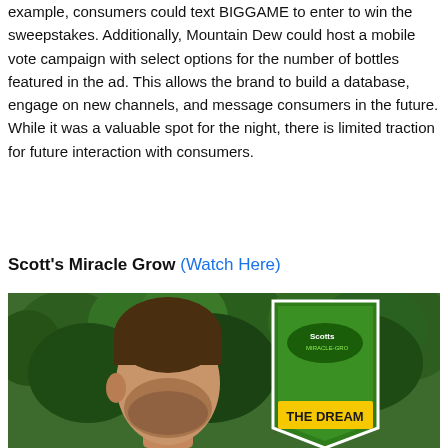example, consumers could text BIGGAME to enter to win the sweepstakes. Additionally, Mountain Dew could host a mobile vote campaign with select options for the number of bottles featured in the ad. This allows the brand to build a database, engage on new channels, and message consumers in the future. While it was a valuable spot for the night, there is limited traction for future interaction with consumers.
Scott's Miracle Grow (Watch Here)
[Figure (photo): Photo of a man in front of green leafy trees, with a Scott's Miracle-Gro branded green triangular sign/badge featuring the text 'THE DREAM' visible in the lower right portion of the image.]